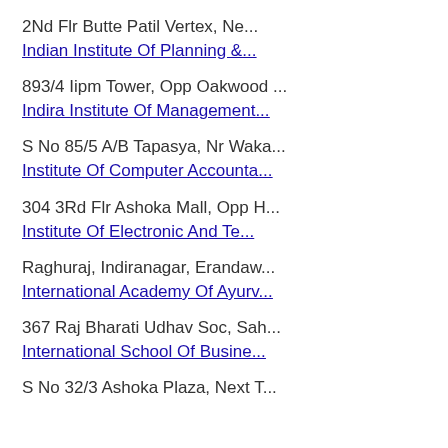2Nd Flr Butte Patil Vertex, Ne...
Indian Institute Of Planning &amp;...
893/4 Iipm Tower, Opp Oakwood ...
Indira Institute Of Management...
S No 85/5 A/B Tapasya, Nr Waka...
Institute Of Computer Accounta...
304 3Rd Flr Ashoka Mall, Opp H...
Institute Of Electronic And Te...
Raghuraj, Indiranagar, Erandaw...
International Academy Of Ayurv...
367 Raj Bharati Udhav Soc, Sah...
International School Of Busine...
S No 32/3 Ashoka Plaza, Next T...